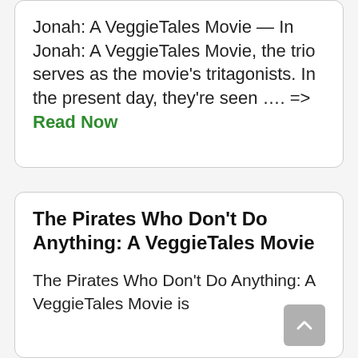Jonah: A VeggieTales Movie — In Jonah: A VeggieTales Movie, the trio serves as the movie's tritagonists. In the present day, they're seen …. => Read Now
The Pirates Who Don't Do Anything: A VeggieTales Movie
The Pirates Who Don't Do Anything: A VeggieTales Movie is